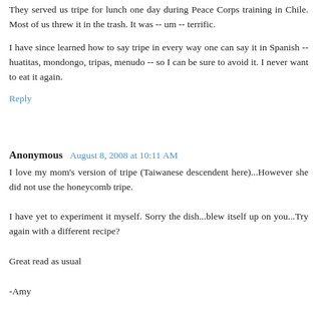They served us tripe for lunch one day during Peace Corps training in Chile. Most of us threw it in the trash. It was -- um -- terrific.
I have since learned how to say tripe in every way one can say it in Spanish -- huatitas, mondongo, tripas, menudo -- so I can be sure to avoid it. I never want to eat it again.
Reply
Anonymous  August 8, 2008 at 10:11 AM
I love my mom's version of tripe (Taiwanese descendent here)...However she did not use the honeycomb tripe.
I have yet to experiment it myself. Sorry the dish...blew itself up on you...Try again with a different recipe?
Great read as usual
-Amy
Reply